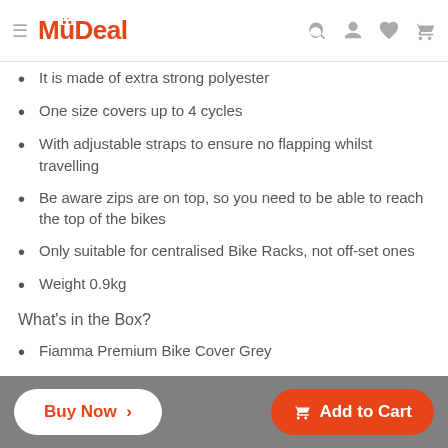MyDeal
It is made of extra strong polyester
One size covers up to 4 cycles
With adjustable straps to ensure no flapping whilst travelling
Be aware zips are on top, so you need to be able to reach the top of the bikes
Only suitable for centralised Bike Racks, not off-set ones
Weight 0.9kg
What's in the Box?
Fiamma Premium Bike Cover Grey
Estimated Delivery Time Frame: 7 - 14 business days